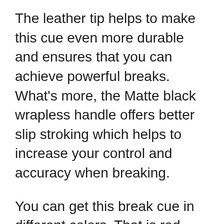The leather tip helps to make this cue even more durable and ensures that you can achieve powerful breaks. What's more, the Matte black wrapless handle offers better slip stroking which helps to increase your control and accuracy when breaking.
You can get this break cue in different colors. That is red, black and silver. You also get a three-year warranty which goes to show how confident the manufacturers are in this break cue.